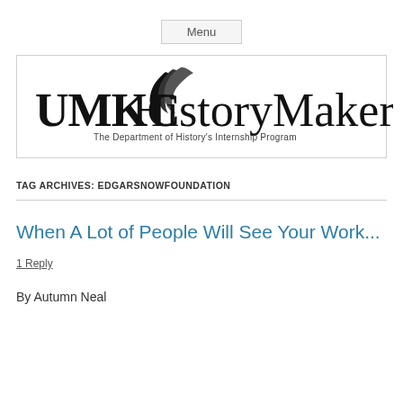Menu
[Figure (logo): UMKC HistoryMakers logo — The Department of History's Internship Program]
TAG ARCHIVES: EDGARSNOWFOUNDATION
When A Lot of People Will See Your Work...
1 Reply
By Autumn Neal